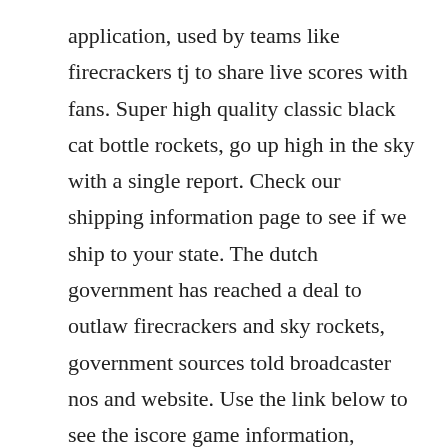application, used by teams like firecrackers tj to share live scores with fans. Super high quality classic black cat bottle rockets, go up high in the sky with a single report. Check our shipping information page to see if we ship to your state. The dutch government has reached a deal to outlaw firecrackers and sky rockets, government sources told broadcaster nos and website. Use the link below to see the iscore game information, replay, etc from all jm softball varsity contests.
Do not allow children to use fireworks